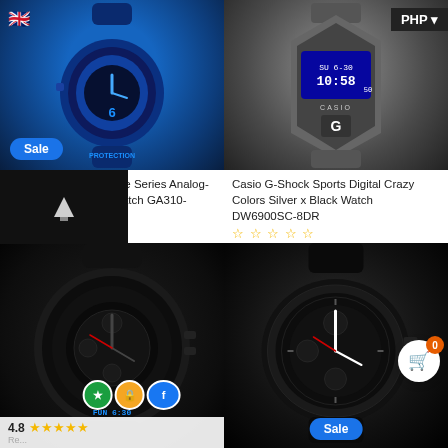[Figure (photo): Casio G-Shock Big Size Series Analog-Digital Metallic Blue Watch GA310-2ADR with blue rubber strap and 'PROTECTION' text]
[Figure (photo): Casio G-Shock Sports Digital Crazy Colors Silver x Black Watch DW6900SC-8DR with digital display showing 10:58]
Casio G-Shock Big Size Series Analog-Digital Metallic Blue Watch GA310-2ADR
Casio G-Shock Sports Digital Crazy Colors Silver x Black Watch DW6900SC-8DR
₱5,195 PHP
₱7,995 PHP
[Figure (photo): Casio G-Shock all-black analog-digital watch with large case and black rubber strap, rating 4.8 stars]
[Figure (photo): Black chronograph watch with dark rubber strap, Sale badge at bottom]